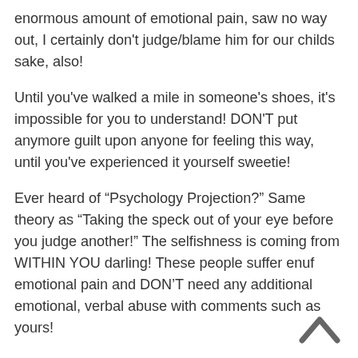enormous amount of emotional pain, saw no way out, I certainly don't judge/blame him for our childs sake, also!
Until you've walked a mile in someone's shoes, it's impossible for you to understand! DON'T put anymore guilt upon anyone for feeling this way, until you've experienced it yourself sweetie!
Ever heard of “Psychology Projection?” Same theory as “Taking the speck out of your eye before you judge another!” The selfishness is coming from WITHIN YOU darling! These people suffer enuf emotional pain and DON'T need any additional emotional, verbal abuse with comments such as yours!
Everyone has already looked at every avenue possible to end their pain without success, that’s why they’re feeling this way. I personally know all